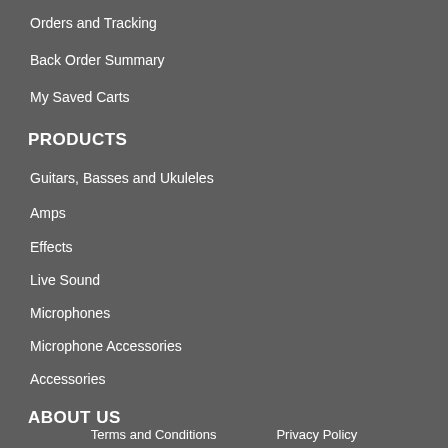Orders and Tracking
Back Order Summary
My Saved Carts
PRODUCTS
Guitars, Basses and Ukuleles
Amps
Effects
Live Sound
Microphones
Microphone Accessories
Accessories
ABOUT US
Terms and Conditions    Privacy Policy